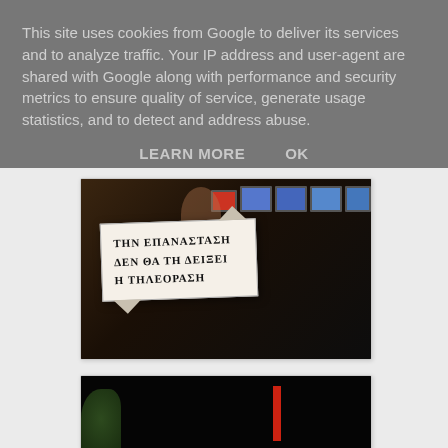This site uses cookies from Google to deliver its services and to analyze traffic. Your IP address and user-agent are shared with Google along with performance and security metrics to ensure quality of service, generate usage statistics, and to detect and address abuse.
LEARN MORE    OK
[Figure (photo): Photo of a protest sign with Greek text reading 'ΤΗΝ ΕΠΑΝΑΣΤΑΣΗ ΔΕΝ ΘΑ ΤΗ ΔΕΙΞΕΙ Η ΤΗΛΕΟΡΑΣΗ' (The revolution will not be televised), held up in front of TV screens in a broadcast setting.]
[Figure (photo): Partial photo showing a dark scene with plant foliage on the left and a red vertical stripe, bottom portion of page.]